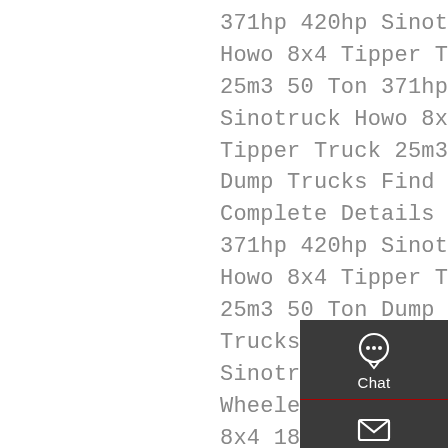371hp 420hp Sinotruck Howo 8x4 Tipper Truck 25m3 50 Ton 371hp 420hp Sinotruck Howo 8x4 Tipper Truck 25m3 50 Ton Dump Trucks Find Complete Details about 371hp 420hp Sinotruck Howo 8x4 Tipper Truck 25m3 50 Ton Dump TrucksDump TrucksUs Sinotruk Howo 336 12 Wheeler 40 Ton 70 Ton 8x4 18 Cubic Meters Tipper8x4 371hp 20 Cubic
[Figure (infographic): Dark sidebar with Chat, Email, Contact, and Top navigation buttons]